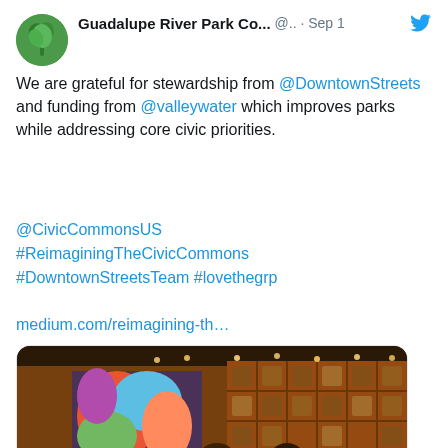[Figure (screenshot): Twitter/social media post from Guadalupe River Park Co... (@..) dated Sep 1. Contains avatar logo (green tree/leaf icon), display name, handle, date, tweet text with mentions and hashtags, a link, and an embedded media card with a photo of people in a warm-lit indoor venue with wooden shelving, colorful artwork, and string lights. Card footer shows medium.com and partial title 'How Civic Infrastructure Grows the Local']